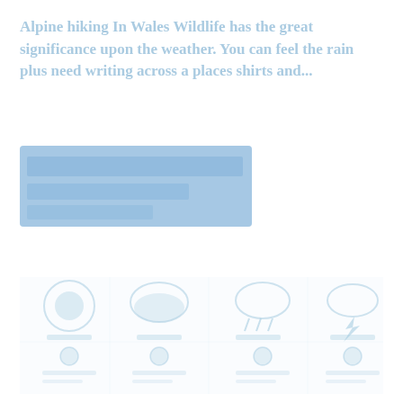Alpine hiking In Wales Wildlife has the great significance upon the weather. You can feel the rain plus need writing across a places shirts and...
[Figure (screenshot): A button or UI element with light blue/teal background, possibly a call-to-action button area]
[Figure (photo): A large composite image showing weather icons (sun, clouds, rain symbols) and nature/hiking related imagery in very light washed-out blue-white tones. Multiple rows of icon-like elements arranged in a grid pattern.]